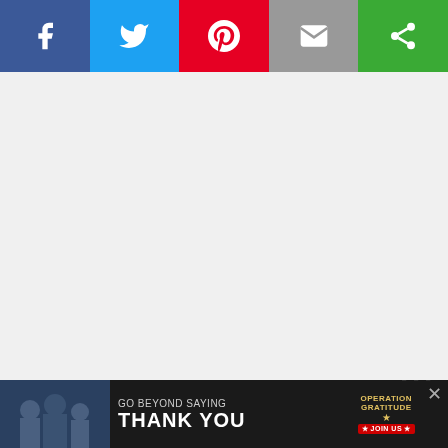[Figure (other): Social share bar with Facebook (blue), Twitter (light blue), Pinterest (red), Email (gray), and a green share icon button]
[Figure (other): Large gray/white image area (advertisement or content image placeholder) with a small watermark logo at bottom right]
You can see my pathetic attempt at Halloween-ifying these fudge brownies. At least it was quick, easy, and free of super processed junk! It was just a little white chocolate but you could use anything that's pipe-able.
Scroll to top
If you try these, let me know how they come out! I'd love to hear what you th
[Figure (other): Bottom advertisement banner: dark background with photo of people, text 'GO BEYOND SAYING THANK YOU', Operation Gratitude logo with star, JOIN US button, and X close button. Watermark logo at right.]